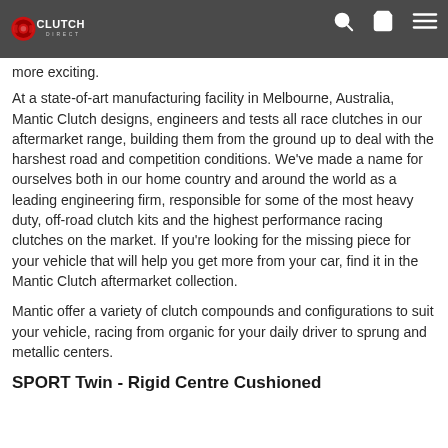Clutch Direct
more exciting. At a state-of-art manufacturing facility in Melbourne, Australia, Mantic Clutch designs, engineers and tests all race clutches in our aftermarket range, building them from the ground up to deal with the harshest road and competition conditions. We've made a name for ourselves both in our home country and around the world as a leading engineering firm, responsible for some of the most heavy duty, off-road clutch kits and the highest performance racing clutches on the market. If you're looking for the missing piece for your vehicle that will help you get more from your car, find it in the Mantic Clutch aftermarket collection.
Mantic offer a variety of clutch compounds and configurations to suit your vehicle, racing from organic for your daily driver to sprung and metallic centers.
SPORT Twin - Rigid Centre Cushioned